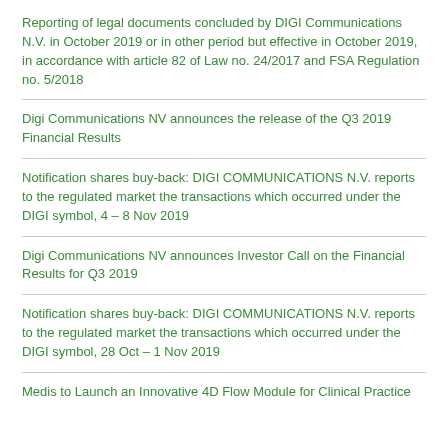Reporting of legal documents concluded by DIGI Communications N.V. in October 2019 or in other period but effective in October 2019, in accordance with article 82 of Law no. 24/2017 and FSA Regulation no. 5/2018
Digi Communications NV announces the release of the Q3 2019 Financial Results
Notification shares buy-back: DIGI COMMUNICATIONS N.V. reports to the regulated market the transactions which occurred under the DIGI symbol, 4 – 8 Nov 2019
Digi Communications NV announces Investor Call on the Financial Results for Q3 2019
Notification shares buy-back: DIGI COMMUNICATIONS N.V. reports to the regulated market the transactions which occurred under the DIGI symbol, 28 Oct – 1 Nov 2019
Medis to Launch an Innovative 4D Flow Module for Clinical Practice